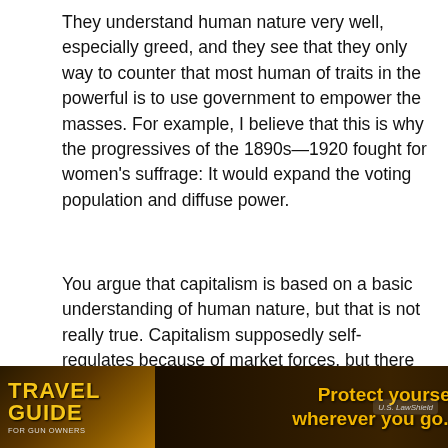They understand human nature very well, especially greed, and they see that they only way to counter that most human of traits in the powerful is to use government to empower the masses. For example, I believe that this is why the progressives of the 1890s—1920 fought for women's suffrage: It would expand the voting population and diffuse power.
You argue that capitalism is based on a basic understanding of human nature, but that is not really true. Capitalism supposedly self-regulates because of market forces, but there are no real markets that push for clean air, clean water, safe drilling, and so on. If we really [nt, we would] [agencies]
[Figure (photo): Advertisement banner for 'Travel Guide for Gun Owners' overlaid with 'Protect yourself wherever you go.' text and US LawShield logo with orange arrow graphics]